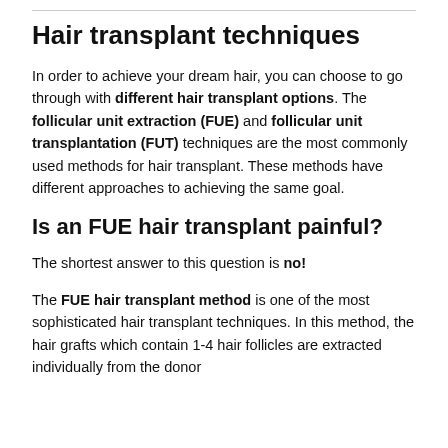Hair transplant techniques
In order to achieve your dream hair, you can choose to go through with different hair transplant options. The follicular unit extraction (FUE) and follicular unit transplantation (FUT) techniques are the most commonly used methods for hair transplant. These methods have different approaches to achieving the same goal.
Is an FUE hair transplant painful?
The shortest answer to this question is no!
The FUE hair transplant method is one of the most sophisticated hair transplant techniques. In this method, the hair grafts which contain 1-4 hair follicles are extracted individually from the donor...